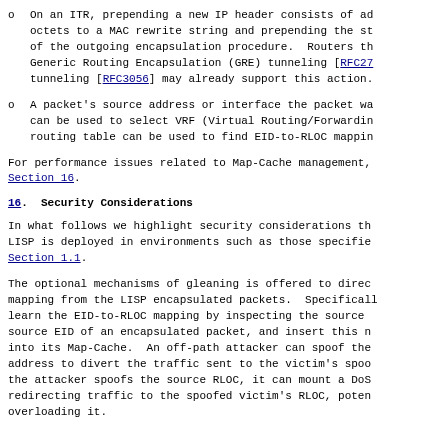On an ITR, prepending a new IP header consists of adding octets to a MAC rewrite string and prepending the st of the outgoing encapsulation procedure. Routers th Generic Routing Encapsulation (GRE) tunneling [RFC27 tunneling [RFC3056] may already support this action.
A packet's source address or interface the packet wa can be used to select VRF (Virtual Routing/Forwardin routing table can be used to find EID-to-RLOC mappin
For performance issues related to Map-Cache management, Section 16.
16. Security Considerations
In what follows we highlight security considerations th LISP is deployed in environments such as those specifie Section 1.1.
The optional mechanisms of gleaning is offered to direc mapping from the LISP encapsulated packets. Specificall learn the EID-to-RLOC mapping by inspecting the source source EID of an encapsulated packet, and insert this n into its Map-Cache. An off-path attacker can spoof the address to divert the traffic sent to the victim's spoo the attacker spoofs the source RLOC, it can mount a DoS redirecting traffic to the spoofed victim's RLOC, poten overloading it.